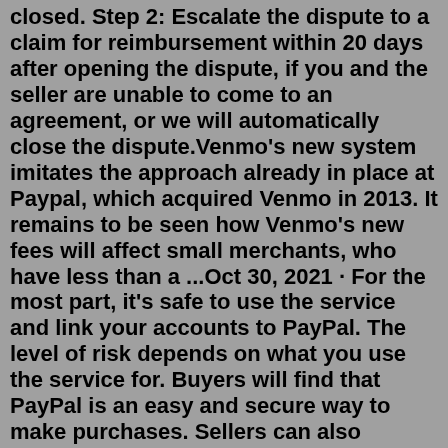closed. Step 2: Escalate the dispute to a claim for reimbursement within 20 days after opening the dispute, if you and the seller are unable to come to an agreement, or we will automatically close the dispute.Venmo's new system imitates the approach already in place at Paypal, which acquired Venmo in 2013. It remains to be seen how Venmo's new fees will affect small merchants, who have less than a ...Oct 30, 2021 · For the most part, it's safe to use the service and link your accounts to PayPal. The level of risk depends on what you use the service for. Buyers will find that PayPal is an easy and secure way to make purchases. Sellers can also benefit from using PayPal, but there are risks to be Oct 30, 2021 · For the most part, it's safe to use the service and link your accounts to PayPal. The level of risk depends on what you use the service for. Buyers will find that PayPal is an easy and secure way to make purchases. Sellers can also benefit from using PayPal, but there are risks to be Jun 20, 2020 · ie. John wants £10 for his item. Sending £10 to john@example.com with Buyer Protection